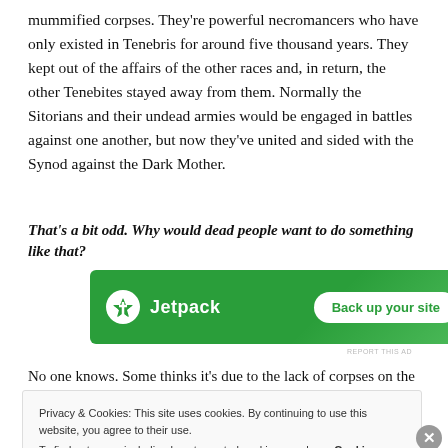mummified corpses. They're powerful necromancers who have only existed in Tenebris for around five thousand years. They kept out of the affairs of the other races and, in return, the other Tenebites stayed away from them. Normally the Sitorians and their undead armies would be engaged in battles against one another, but now they've united and sided with the Synod against the Dark Mother.
That's a bit odd. Why would dead people want to do something like that?
[Figure (infographic): Jetpack advertisement banner with green background. Shows Jetpack logo with lightning bolt icon and text 'Back up your site' button.]
REPORT THIS AD
No one knows. Some thinks it's due to the lack of corpses on the
Privacy & Cookies: This site uses cookies. By continuing to use this website, you agree to their use.
To find out more, including how to control cookies, see here: Cookie Policy
Close and accept